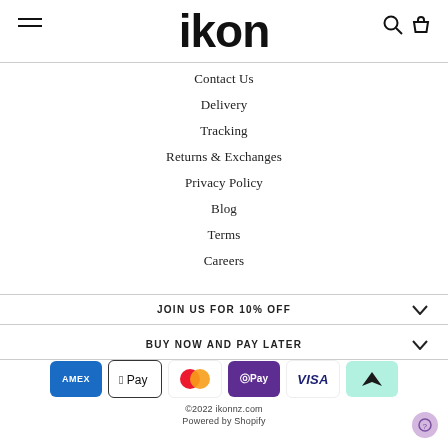IKON
Contact Us
Delivery
Tracking
Returns & Exchanges
Privacy Policy
Blog
Terms
Careers
JOIN US FOR 10% OFF
BUY NOW AND PAY LATER
[Figure (other): Payment method logos: American Express, Apple Pay, Mastercard, Google Pay (OPay), Visa, Afterpay]
© 2022 ikonnz.com
Powered by Shopify